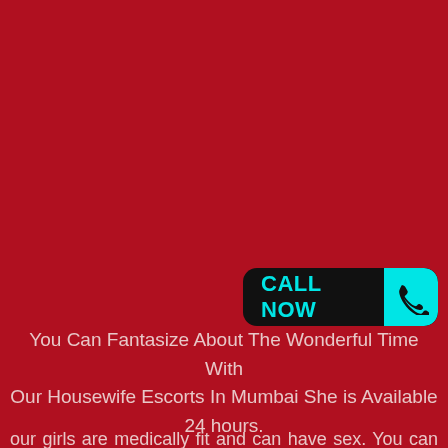[Figure (other): CALL NOW button with phone icon in cyan on black rounded rectangle background]
You Can Fantasize About The Wonderful Time With Our Housewife Escorts In Mumbai She is Available 24 hours.
our girls are medically fit and can have sex. You can have sex with them without a single bit of worry. They go through regular checkups and do not have any kind of sexually transmitted diseases (STDs). Therefore we go through all this effort to make sure our clients and